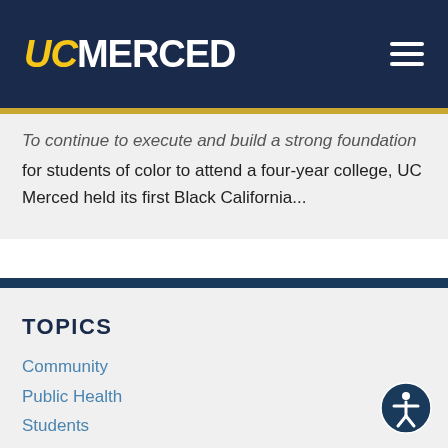UC MERCED
To continue to execute and build a strong foundation for students of color to attend a four-year college, UC Merced held its first Black California...
TOPICS
Community
Public Health
Students
Undergraduate Students
Community Service